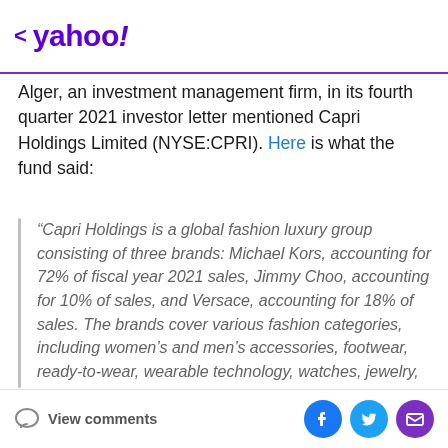< yahoo!
Alger, an investment management firm, in its fourth quarter 2021 investor letter mentioned Capri Holdings Limited (NYSE:CPRI). Here is what the fund said:
“Capri Holdings is a global fashion luxury group consisting of three brands: Michael Kors, accounting for 72% of fiscal year 2021 sales, Jimmy Choo, accounting for 10% of sales, and Versace, accounting for 18% of sales. The brands cover various fashion categories, including women’s and men’s accessories, footwear, ready-to-wear, wearable technology, watches, jewelry, eyewear and fragrance products. Capri mainly
View comments